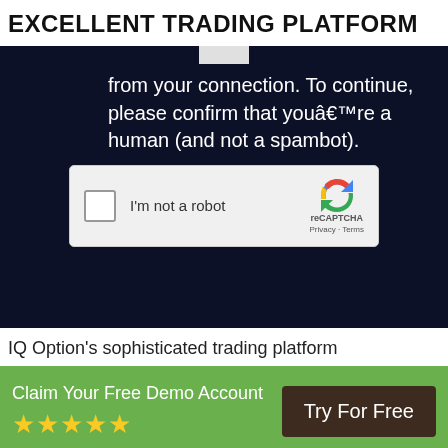EXCELLENT TRADING PLATFORM
[Figure (screenshot): Screenshot of a website showing a CAPTCHA verification prompt on a dark navy background. Text reads: 'from your connection. To continue, please confirm that youâ€™re a human (and not a spambot).' with a reCAPTCHA 'I'm not a robot' checkbox widget.]
IQ Option’s sophisticated trading platform
Claim Your Free Demo Account
★★★★★
Try For Free